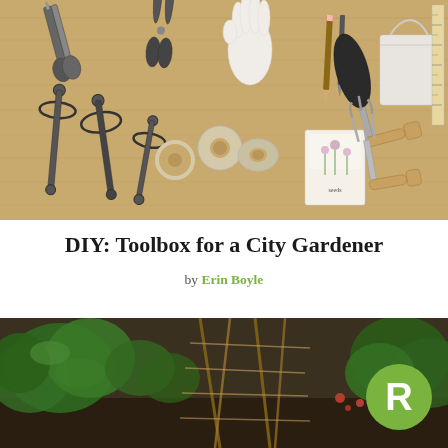[Figure (photo): Overhead flat-lay photo of gardening tools and supplies arranged on a light wood surface: pruning shears, scissors, garden gloves, a marker/pencil, a white cloth bag, seed packets with floral illustration, tape rolls, old-fashioned hand drills/braces, a trowel, and a small cultivator fork with wooden handles.]
DIY: Toolbox for a City Gardener
by Erin Boyle
[Figure (photo): Partial photo of a garden scene showing green leafy plants and wicker/bamboo stakes, with a circular green badge with white letter R in the bottom-right corner, and a small close button (X) in the top-left corner.]